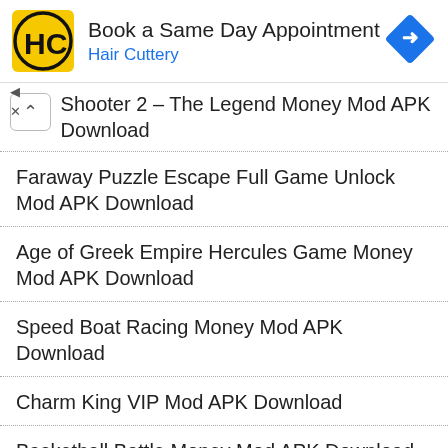[Figure (screenshot): Hair Cuttery advertisement banner with yellow square HC logo, text 'Book a Same Day Appointment' and 'Hair Cuttery' in blue, and a blue diamond navigation icon on the right.]
Shooter 2 – The Legend Money Mod APK Download
Faraway Puzzle Escape Full Game Unlock Mod APK Download
Age of Greek Empire Hercules Game Money Mod APK Download
Speed Boat Racing Money Mod APK Download
Charm King VIP Mod APK Download
Basketball Battle Money Mod APK Download
Drag Racing Full Game Unlock Mod APK Download